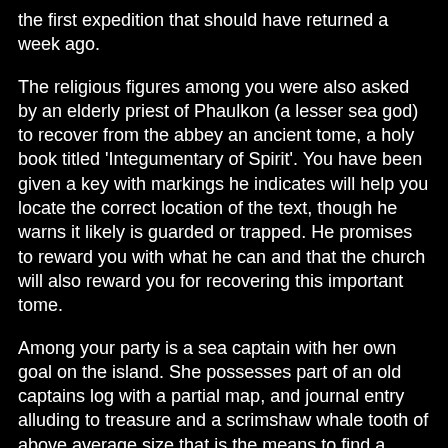the first expedition that should have returned a week ago.
The religious figures among you were also asked by an elderly priest of Phaulkon (a lesser sea god) to recover from the abbey an ancient tome, a holy book titled 'Integumentary of Spirit'. You have been given a key with markings he indicates will help you locate the correct location of the text, though he warns it likely is guarded or trapped. He promises to reward you with what he can and that the church will also reward you for recovering this important tome.
Among your party is a sea captain with her own goal on the island. She possesses part of an old captains log with a partial map, and journal entry alluding to treasure and a scrimshaw whale tooth of above average size that is the means to find a greater treasure on another island.
- - - It is morning as you make landfall on the southern tip of the island, but you wouldn't know it due to the heavy storm clouds overhead, the driving rain, and the choppy sea. Two ships crewmen drag lines beyond the tall sand dunes to tie up the three dingies your party arrived in, while a third